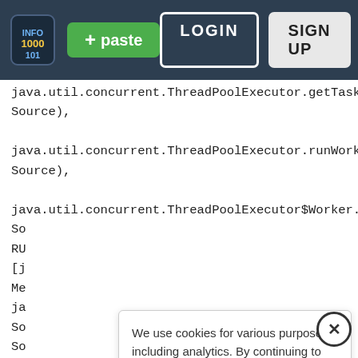[Figure (screenshot): Pastebin website header with logo, green paste button, LOGIN and SIGN UP buttons on dark navy background]
java.util.concurrent.ThreadPoolExecutor.getTask(Unknown Source),
java.util.concurrent.ThreadPoolExecutor.runWorker(Unknown Source),
java.util.concurrent.ThreadPoolExecutor$Worker.run(Unknown Source),
So
RU
[j
Me
ja
So
So
We use cookies for various purposes including analytics. By continuing to use Pastebin, you agree to our use of cookies as described in the Cookies Policy.   OK, I Understand
Not a member of Pastebin yet?
Sign Up, it unlocks many cool features!
Source),
com.mysql.jdbc.util.ReadAheadInputStream.fill(ReadAheadInputStream.java:113),
com.mysql.jdbc.util.ReadAheadInputStream.readFromUnderlying...
com.mysql.jdbc.util.ReadAheadInputStream.read(ReadAheadInputStream.java:141),
com.mysql.jdbc.MysqlIO.readFully(MysqlIO.java:2526